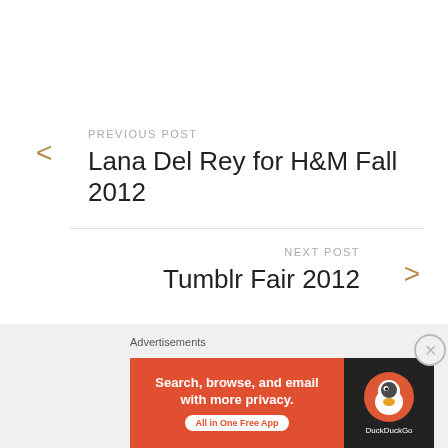PREVIOUS POST
Lana Del Rey for H&M Fall 2012
NEXT POST
Tumblr Fair 2012
Advertisements
[Figure (other): Advertisement banner with gradient background]
Advertisements
[Figure (other): DuckDuckGo advertisement: Search, browse, and email with more privacy. All in One Free App]